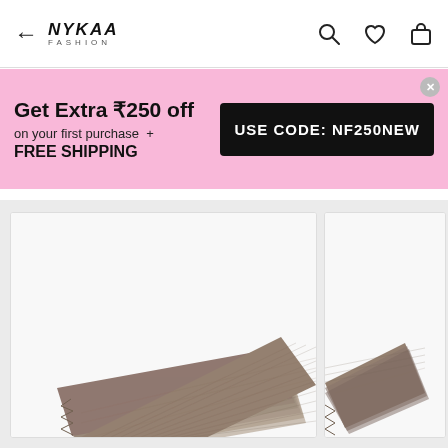← NYKAA FASHION [search, wishlist, cart icons]
Get Extra ₹250 off on your first purchase + FREE SHIPPING   USE CODE: NF250NEW
[Figure (photo): Two product cards showing grey/taupe woven fabric placemats fanned out, partially cut off on right side]